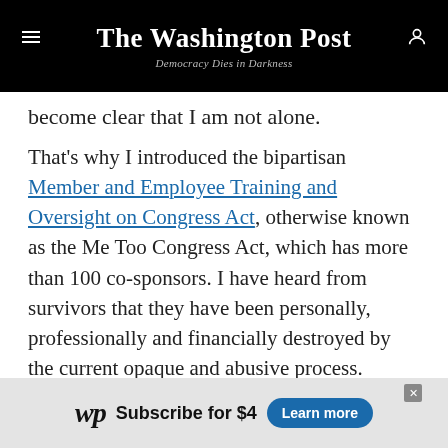The Washington Post — Democracy Dies in Darkness
become clear that I am not alone.
That's why I introduced the bipartisan Member and Employee Training and Oversight on Congress Act, otherwise known as the Me Too Congress Act, which has more than 100 co-sponsors. I have heard from survivors that they have been personally, professionally and financially destroyed by the current opaque and abusive process. Meanwhile, taxpayers foot the bill for settlements and the harasser goes on his way, free to destroy more lives. This bill does three main things to rectify these wrongs.
[Figure (other): Washington Post subscription advertisement banner: WP logo, 'Subscribe for $4', 'Learn more' blue button]